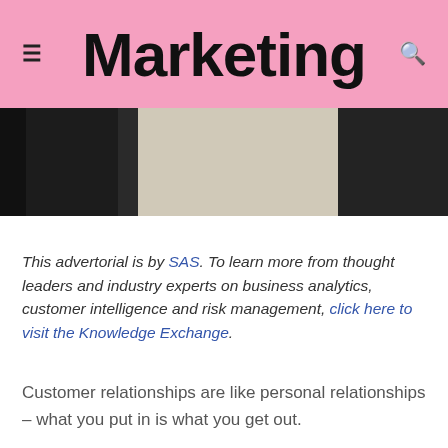Marketing
[Figure (photo): Partial photo showing dark background on left and right with a light beige/cream colored object in the center, cropped at top]
This advertorial is by SAS. To learn more from thought leaders and industry experts on business analytics, customer intelligence and risk management, click here to visit the Knowledge Exchange.
Customer relationships are like personal relationships – what you put in is what you get out.